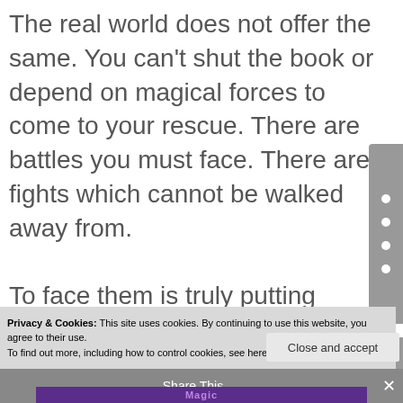The real world does not offer the same. You can't shut the book or depend on magical forces to come to your rescue. There are battles you must face. There are fights which cannot be walked away from.

To face them is truly putting yourself on the line.
Privacy & Cookies: This site uses cookies. By continuing to use this website, you agree to their use.
To find out more, including how to control cookies, see here: Cookie Policy
Close and accept
Share This
Magic